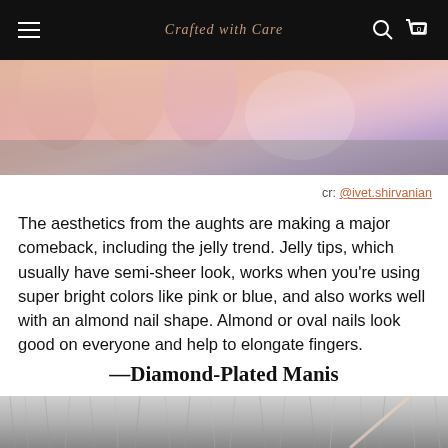Crafted with Care
[Figure (photo): Close-up photograph of iridescent jelly-finish pink nails with holographic shimmer on fingers, gray background.]
cr: @ivet.shirvanian
The aesthetics from the aughts are making a major comeback, including the jelly trend. Jelly tips, which usually have semi-sheer look, works when you're using super bright colors like pink or blue, and also works well with an almond nail shape. Almond or oval nails look good on everyone and help to elongate fingers.
—Diamond-Plated Manis
[Figure (photo): Close-up photograph of silver/gray fluffy fur or textile texture at the bottom of the page.]